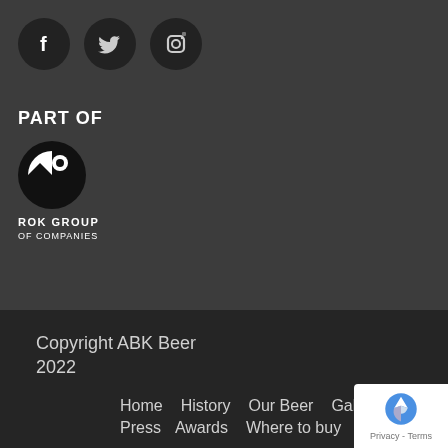[Figure (illustration): Three dark circular social media icons: Facebook (f), Twitter (bird), Instagram (camera)]
PART OF
[Figure (logo): ROK Group of Companies logo - circular black and white emblem with ROK GROUP / OF COMPANIES text below]
Copyright ABK Beer 2022
Home   History   Our Beer   Gallery   Part   Press   Awards   Where to buy   Contact